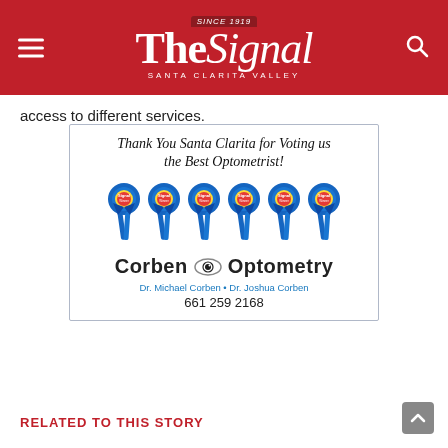The Signal — Santa Clarita Valley (Since 1919)
access to different services.
[Figure (advertisement): Advertisement for Corben Optometry featuring six blue Signal award ribbons and text: 'Thank You Santa Clarita for Voting us the Best Optometrist! Corben Optometry. Dr. Michael Corben • Dr. Joshua Corben. 661 259 2168']
RELATED TO THIS STORY